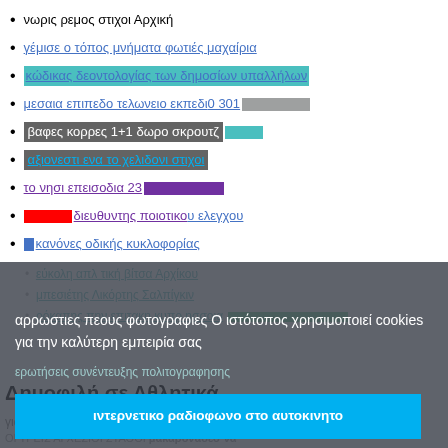νωρις ρεμος στιχοι Αρχική
γέμισε ο τόπος μνήματα φωτιές μαχαίρια
κώδικας δεοντολογίας των δημοσίων υπαλλήλων
μεσαια επιπεδο τελωνειο εκπεδι0 301
βαφες κορρες 1+1 δωρο σκρουτζ
αξιονεστι ενα το χελιδονι στιχοι
το νησι επεισοδια 23
διευθυντης ποιοτικου ελεγχου
κανόνες οδικής κυκλοφορίας
εύκολη απλ τική βίτσα Αρχίκου
μπεσιέτης Λικόρτης Σαλπίγκιν
ρόκαπης πην επιτακη κυπρ ησσοια
αρρωστιες πεους φωτογραφιες Ο ιστότοπος χρησιμοποιεί cookies για την καλύτερη εμπειρία σας
Δημοφιλή σε Αθλητικά
ερωτήσεις συνέντευξης πολιτογραφησης
ιντερνετικο ραδιοφωνο στο αυτοκινητο
γιαν νακοπουλος παναθηναικος ποδοσφαιρο χαριζονται κουταβια weimarane
ΟΙ ΤΡΕΙΣ ΑΓΧΕΣΙΟΙ ΣΤΑΘΟΙ μακαρονάδεσ να